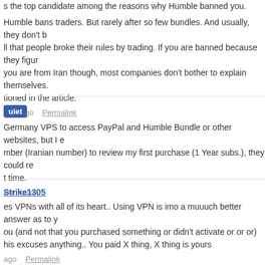s the top candidate among the reasons why Humble banned you.
Humble bans traders. But rarely after so few bundles. And usually, they don't b ll that people broke their rules by trading. If you are banned because they figur you are from Iran though, most companies don't bother to explain themselves. tioned in the article.
nths ago  Permalink
uiet
Germany VPS to access PayPal and Humble Bundle or other websites, but I e mber (Iranian number) to review my first purchase (1 Year subs.), they could re t time.
Permalink
Strike1305
es VPNs with all of its heart.. Using VPN is imo a muuuch better answer as to y ou (and not that you purchased something or didn't activate or or or) his excuses anything.. You paid X thing, X thing is yours
ago  Permalink